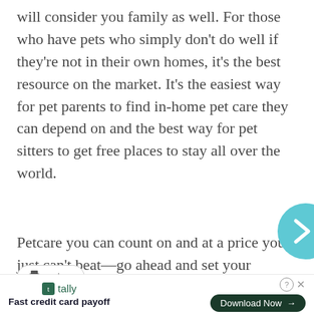will consider you family as well. For those who have pets who simply don't do well if they're not in their own homes, it's the best resource on the market. It's the easiest way for pet parents to find in-home pet care they can depend on and the best way for pet sitters to get free places to stay all over the world.
Petcare you can count on and at a price you just can't beat—go ahead and set your membership on TrustedHousesitters up now.
[Figure (other): Teal circular arrow button (navigation chevron right)]
[Figure (other): Print button with printer icon]
[Figure (other): Tally advertisement banner: Fast credit card payoff, Download Now button]